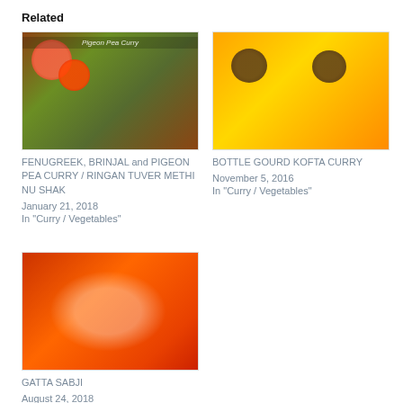Related
[Figure (photo): Food photo of Fenugreek, Brinjal and Pigeon Pea Curry dish on a plate with tomato slices]
FENUGREEK, BRINJAL and PIGEON PEA CURRY / RINGAN TUVER METHI NU SHAK
January 21, 2018
In "Curry / Vegetables"
[Figure (photo): Food photo of Bottle Gourd Kofta Curry in orange gravy with kofta balls garnished with herbs]
BOTTLE GOURD KOFTA CURRY
November 5, 2016
In "Curry / Vegetables"
[Figure (photo): Food photo of Gatta Sabji curry dish in a bowl with thick red-orange gravy]
GATTA SABJI
August 24, 2018
In "Curry / Vegetables"